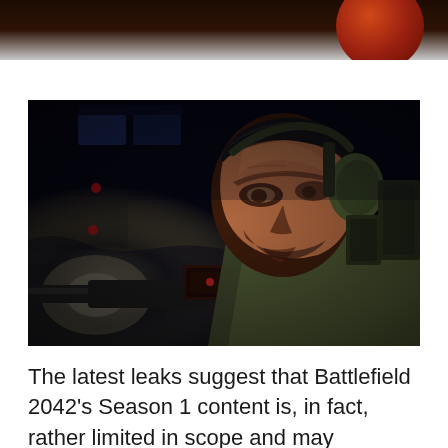[Figure (photo): Close-up dark cinematic photo of a male soldier with short dark hair and a beard, wearing military tactical gear including a green helmet-mounted headset/ear protection, a tactical vest, and holding a rifle with an optic sight raised near his face. Background is dark and smoky with blue-tinted lights and red lights visible. This appears to be from the video game Battlefield 2042.]
The latest leaks suggest that Battlefield 2042's Season 1 content is, in fact, rather limited in scope and may